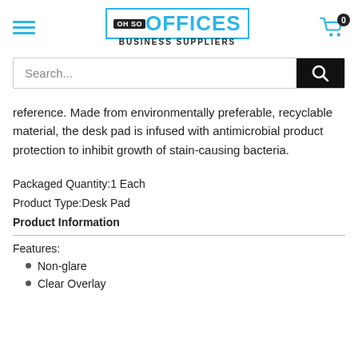OH SO OFFICES BUSINESS SUPPLIERS
Search...
reference. Made from environmentally preferable, recyclable material, the desk pad is infused with antimicrobial product protection to inhibit growth of stain-causing bacteria.
Packaged Quantity:1 Each
Product Type:Desk Pad
Product Information
Features:
Non-glare
Clear Overlay